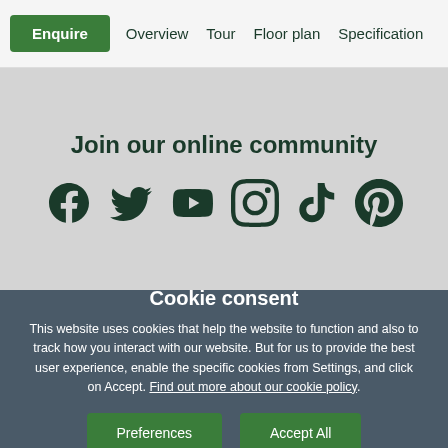Enquire  Overview  Tour  Floor plan  Specification
Join our online community
[Figure (illustration): Six social media icons in dark green: Facebook, Twitter, YouTube, Instagram, TikTok, Pinterest]
Cookie consent
This website uses cookies that help the website to function and also to track how you interact with our website. But for us to provide the best user experience, enable the specific cookies from Settings, and click on Accept. Find out more about our cookie policy.
Preferences  Accept All